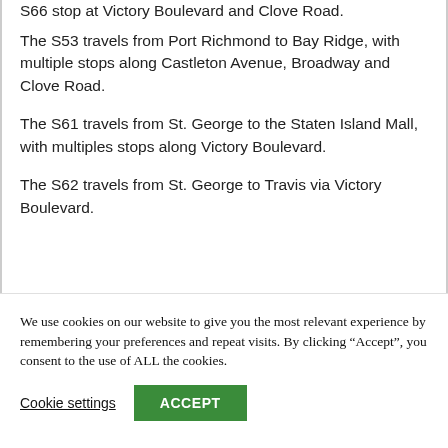S66 stop at Victory Boulevard and Clove Road.
The S53 travels from Port Richmond to Bay Ridge, with multiple stops along Castleton Avenue, Broadway and Clove Road.
The S61 travels from St. George to the Staten Island Mall, with multiples stops along Victory Boulevard.
The S62 travels from St. George to Travis via Victory Boulevard.
We use cookies on our website to give you the most relevant experience by remembering your preferences and repeat visits. By clicking “Accept”, you consent to the use of ALL the cookies.
Cookie settings
ACCEPT